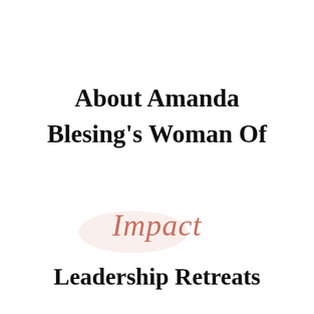About Amanda Blesing's Woman Of Impact Leadership Retreats